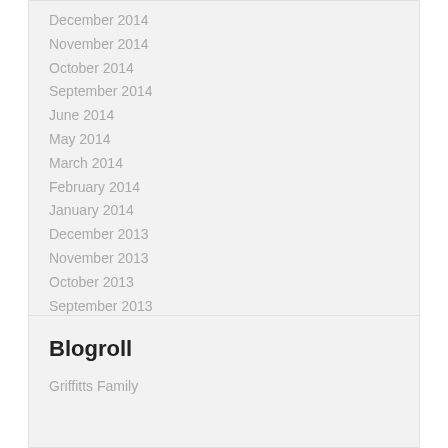December 2014
November 2014
October 2014
September 2014
June 2014
May 2014
March 2014
February 2014
January 2014
December 2013
November 2013
October 2013
September 2013
August 2013
Blogroll
Griffitts Family